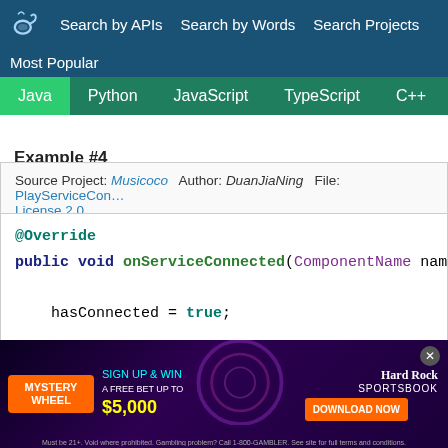Search by APIs  Search by Words  Search Projects  Most Popular
Java
Python
JavaScript
TypeScript
C++
Scala
Example #4
Source Project: Musicoco  Author: DuanJiaNing  File: PlayServiceCon...  License 2.0
[Figure (screenshot): Java code snippet showing @Override public void onServiceConnected(ComponentName name, ...){ hasConnected = true; mControl = IPlayControl.Stub.asInterface(service); try {]
[Figure (screenshot): Advertisement banner for Hard Rock Sportsbook Mystery Wheel promotion: Sign up & win a free bet up to $5,000. Download Now button.]